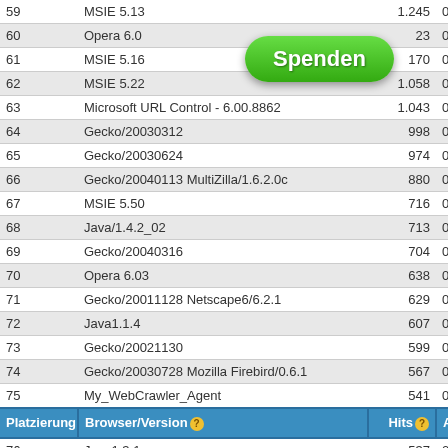| Platzierung | Browser/Version | Hits | Ant |
| --- | --- | --- | --- |
| 59 | MSIE 5.13 | 1.245 | 0,0 |
| 60 | Opera 6.0 | 23 | 0,0 |
| 61 | MSIE 5.16 | 170 | 0,0 |
| 62 | MSIE 5.22 | 1.058 | 0,0 |
| 63 | Microsoft URL Control - 6.00.8862 | 1.043 | 0,0 |
| 64 | Gecko/20030312 | 998 | 0,0 |
| 65 | Gecko/20030624 | 974 | 0,0 |
| 66 | Gecko/20040113 MultiZilla/1.6.2.0c | 880 | 0,0 |
| 67 | MSIE 5.50 | 716 | 0,0 |
| 68 | Java/1.4.2_02 | 713 | 0,0 |
| 69 | Gecko/20040316 | 704 | 0,0 |
| 70 | Opera 6.03 | 638 | 0,0 |
| 71 | Gecko/20011128 Netscape6/6.2.1 | 629 | 0,0 |
| 72 | Java1.1.4 | 607 | 0,0 |
| 73 | Gecko/20021130 | 599 | 0,0 |
| 74 | Gecko/20030728 Mozilla Firebird/0.6.1 | 567 | 0,0 |
| 75 | My_WebCrawler_Agent | 541 | 0,0 |
| HEADER | HEADER | HEADER | HEADER |
| 76 | Java1.3.1 | 537 | 0,0 |
| 77 | ia_archiver | 523 | 0,0 |
| 78 | contype | 480 | 0,0 |
| 79 | Active Cache Request | 472 | 0,0 |